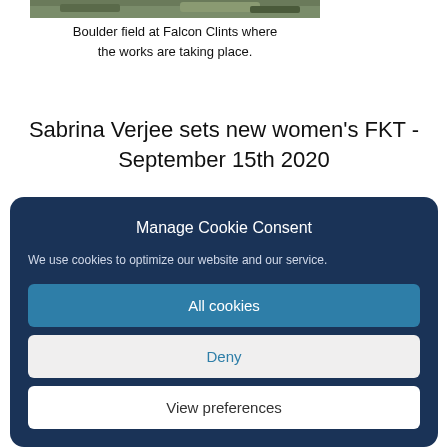[Figure (photo): Boulder field at Falcon Clints where the works are taking place — partial crop of rocky terrain visible at top.]
Boulder field at Falcon Clints where the works are taking place.
Sabrina Verjee sets new women's FKT - September 15th 2020
Manage Cookie Consent
We use cookies to optimize our website and our service.
All cookies
Deny
View preferences